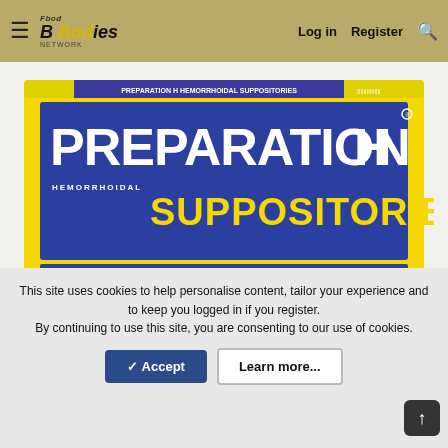≡  FBodies | Log in  Register  🔍
[Figure (photo): Preparation H Hemorrhoidal Suppositories product box. Yellow box with blue label reading PREPARATION H SUPPOSITORIES HEMORRHOIDAL. Tagline: Reduces Internal Swelling, Soothes and Protects. Bullet points: Prompt Soothing Relief from Painful Burning, Itching and Discomfort; Shrinks Swollen Hemorrhoidal Tissue; Protects Irritated Tissue; Also for Nighttime Relief. 24 SUPPOSITORIES.]
This site uses cookies to help personalise content, tailor your experience and to keep you logged in if you register.
By continuing to use this site, you are consenting to our use of cookies.
✓ Accept
Learn more...